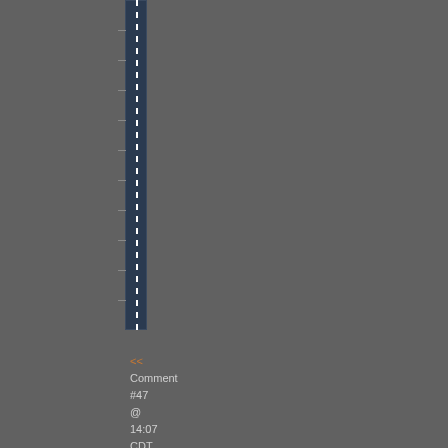[Figure (other): Vertical dark blue bar with dashed white center line and tick marks along the left side, spanning from top to about two-thirds down the page]
<< Comment #47 @ 14:07 CDT, 5 November 2010 >>